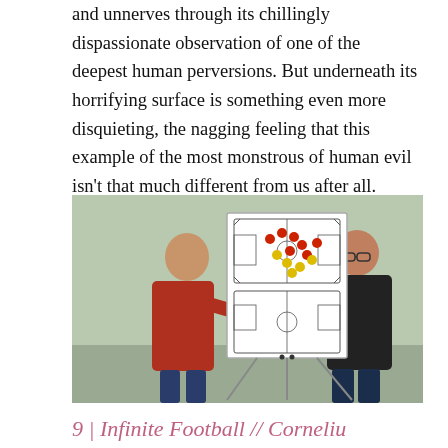and unnerves through its chillingly dispassionate observation of one of the deepest human perversions. But underneath its horrifying surface is something even more disquieting, the nagging feeling that this example of the most monstrous of human evil isn't that much different from us after all.
[Figure (photo): Two men standing in front of a whiteboard on an easel. The man on the left wears a red sweater and is pointing at a magnetic tactical football/soccer board with red and yellow player markers. The man on the right wears a black shirt and glasses, observing. The background is a light green wall.]
9 | Infinite Football // Corneliu